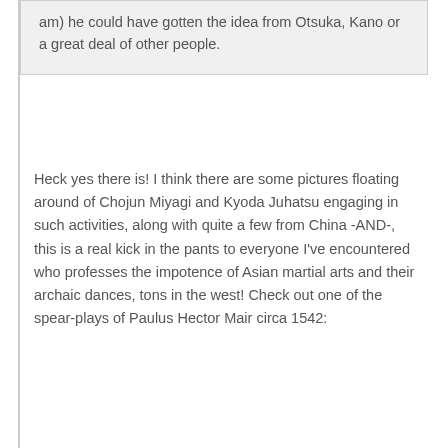am) he could have gotten the idea from Otsuka, Kano or a great deal of other people.
Heck yes there is!  I think there are some pictures floating around of Chojun Miyagi and Kyoda Juhatsu engaging in such activities, along with quite a few from China -AND-, this is a real kick in the pants to everyone I've encountered who professes the impotence of Asian martial arts and their archaic dances, tons in the west!  Check out one of the spear-plays of Paulus Hector Mair circa 1542: